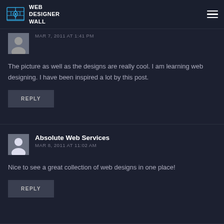WEB DESIGNER WALL
MAR 7, 2011 AT 1:41 PM
The picture as well as the designs are really cool. I am learning web designing. I have been inspired a lot by this post.
REPLY
Absolute Web Services
MAR 8, 2011 AT 11:02 AM
Nice to see a great collection of web designs in one place!
REPLY